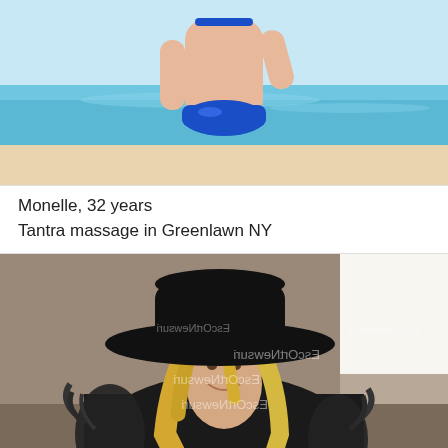[Figure (photo): Cropped photo of a person in a blue bikini standing on a beach with ocean in the background]
Monelle, 32 years
Tantra massage in Greenlawn NY
[Figure (photo): Photo of a blonde woman wearing a large black hat and black fur coat, smiling, with watermark text overlay]